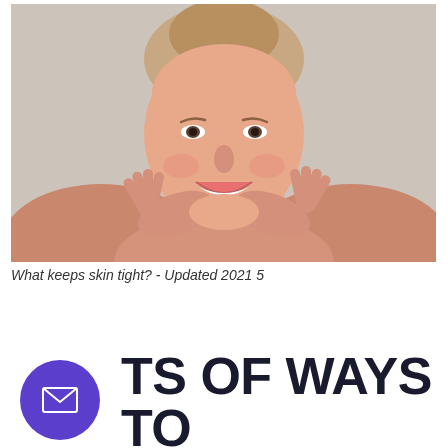[Figure (photo): Middle-aged woman smiling with hands cupped around her face against a light grey background, appearing to showcase healthy skin]
What keeps skin tight? - Updated 2021 5
LOTS OF WAYS TO FIRM SAGGING SKIN